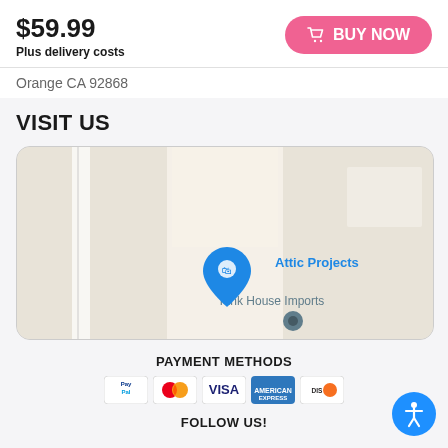$59.99
Plus delivery costs
BUY NOW
Orange CA 92868
VISIT US
[Figure (map): Google Maps view showing a location pin labeled 'Attic Projects' and nearby 'Pink House Imports' in Orange, CA 92868]
PAYMENT METHODS
[Figure (logo): Payment method icons: PayPal, Mastercard, VISA, American Express, Discover]
FOLLOW US!